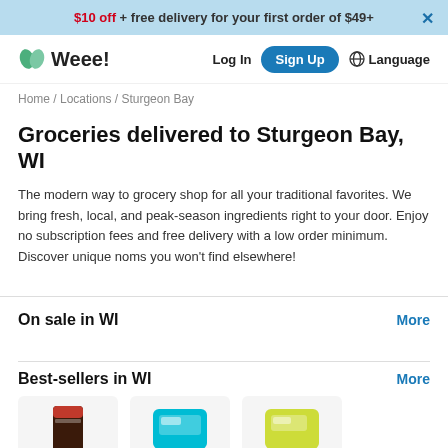$10 off + free delivery for your first order of $49+
[Figure (logo): Weee! grocery delivery service logo with green leaf icon]
Log In
Sign Up
Language
Home / Locations / Sturgeon Bay
Groceries delivered to Sturgeon Bay, WI
The modern way to grocery shop for all your traditional favorites. We bring fresh, local, and peak-season ingredients right to your door. Enjoy no subscription fees and free delivery with a low order minimum. Discover unique noms you won't find elsewhere!
On sale in WI
Best-sellers in WI
[Figure (photo): Product thumbnails for best-sellers: a dark tin/can product, a teal packaged product, and a yellow/green packaged product]